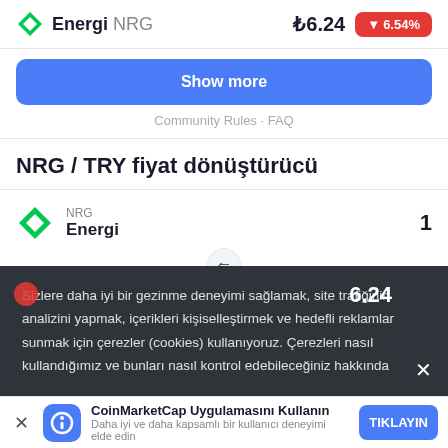Energi NRG  ₺6.24  ▼6.54%
Show more
Community Rules · FAQ
NRG / TRY fiyat dönüştürücü
NRG  Energi   1
6.24
Sizleye daha iyi bir gezinme deneyimi sağlamak, site trafiğinin analizini yapmak, içerikleri kişiselleştirmek ve hedefli reklamlar sunmak için çerezler (cookies) kullanıyoruz. Çerezleri nasıl kullandığımız ve bunları nasıl kontrol edebileceğiniz hakkında
CoinMarketCap Uygulamasını Kullanın  Daha iyi ve daha kapsamlı bir kullanıcı deneyimi elde edin  TIKLAYIN